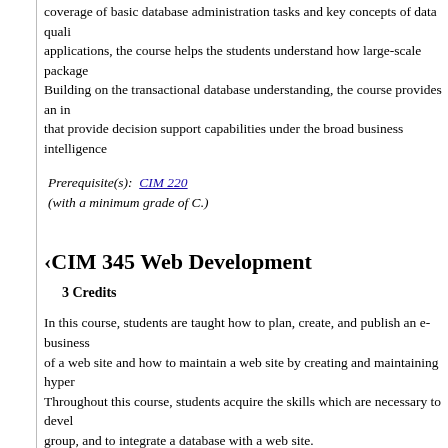coverage of basic database administration tasks and key concepts of data quality applications, the course helps the students understand how large-scale packages. Building on the transactional database understanding, the course provides an introduction that provide decision support capabilities under the broad business intelligence
Prerequisite(s):  CIM 220
(with a minimum grade of C.)
CIM 345 Web Development
3 Credits
In this course, students are taught how to plan, create, and publish an e-business of a web site and how to maintain a web site by creating and maintaining hyperlinks. Throughout this course, students acquire the skills which are necessary to develop a group, and to integrate a database with a web site.
Prerequisite(s):  CIM 220
(with a minimum grade of C).